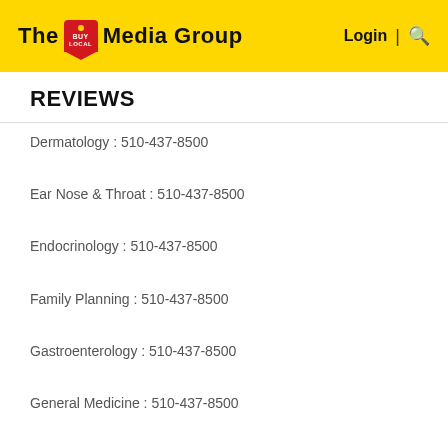The Buy Local Media Group — Login | Search
REVIEWS
Dermatology : 510-437-8500
Ear Nose & Throat : 510-437-8500
Endocrinology : 510-437-8500
Family Planning : 510-437-8500
Gastroenterology : 510-437-8500
General Medicine : 510-437-8500